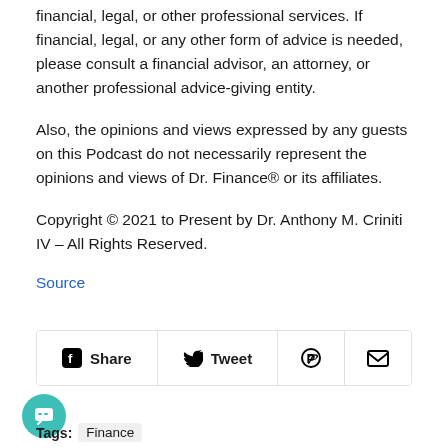financial, legal, or other professional services. If financial, legal, or any other form of advice is needed, please consult a financial advisor, an attorney, or another professional advice-giving entity.
Also, the opinions and views expressed by any guests on this Podcast do not necessarily represent the opinions and views of Dr. Finance® or its affiliates.
Copyright © 2021 to Present by Dr. Anthony M. Criniti IV – All Rights Reserved.
Source
[Figure (other): Social sharing bar with Facebook Share, Twitter Tweet, Pinterest, and Email buttons, plus a teal chat bubble icon in the bottom left and a Tags row showing 'Finance' pill]